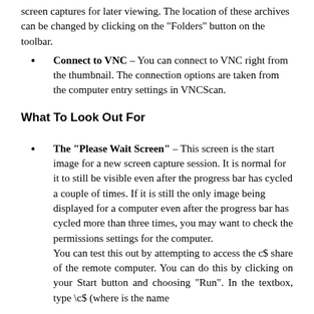screen captures for later viewing. The location of these archives can be changed by clicking on the “Folders” button on the toolbar.
Connect to VNC – You can connect to VNC right from the thumbnail. The connection options are taken from the computer entry settings in VNCScan.
What To Look Out For
The “Please Wait Screen” – This screen is the start image for a new screen capture session. It is normal for it to still be visible even after the progress bar has cycled a couple of times. If it is still the only image being displayed for a computer even after the progress bar has cycled more than three times, you may want to check the permissions settings for the computer. You can test this out by attempting to access the c$ share of the remote computer. You can do this by clicking on your Start button and choosing “Run”. In the textbox, type \c$ (where is the name